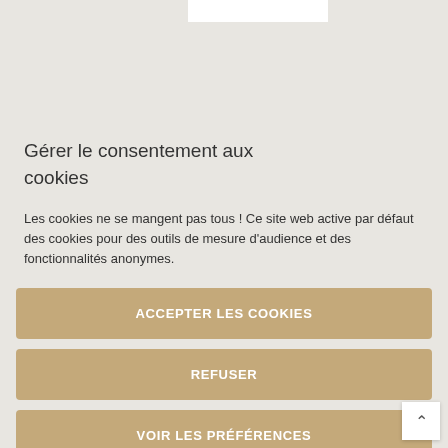Gérer le consentement aux cookies
Les cookies ne se mangent pas tous ! Ce site web active par défaut des cookies pour des outils de mesure d'audience et des fonctionnalités anonymes.
ACCEPTER LES COOKIES
REFUSER
VOIR LES PRÉFÉRENCES